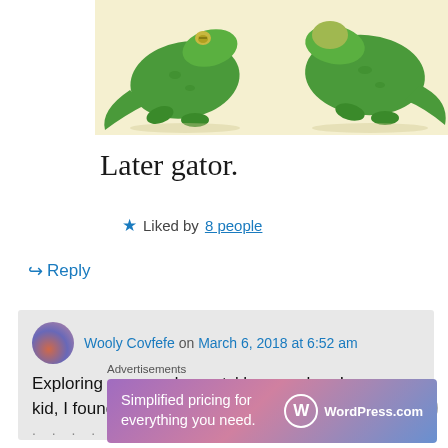[Figure (illustration): Cartoon alligators/gators on a light yellow background, showing two green cartoon gators]
Later gator.
★ Liked by 8 people
↪ Reply
Wooly Covfefe on March 6, 2018 at 6:52 am
Exploring my grandparents' house when I was a kid, I found an alligator purse in the
Advertisements
[Figure (screenshot): WordPress.com advertisement banner: 'Simplified pricing for everything you need. WordPress.com']